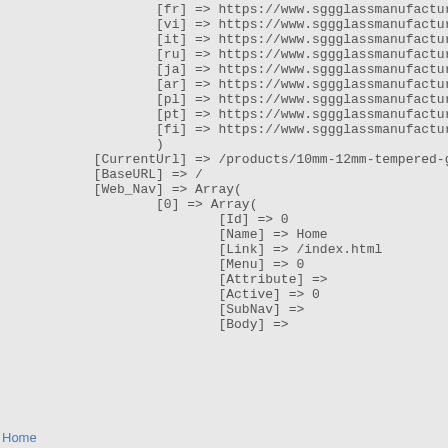[fr] => https://www.sggglassmanufacturer
[vi] => https://www.sggglassmanufacturer
[it] => https://www.sggglassmanufacturer
[ru] => https://www.sggglassmanufacturer
[ja] => https://www.sggglassmanufacturer
[ar] => https://www.sggglassmanufacturer
[pl] => https://www.sggglassmanufacturer
[pt] => https://www.sggglassmanufacturer
[fi] => https://www.sggglassmanufacturer
)
[CurrentUrl] => /products/10mm-12mm-tempered-gla
[BaseURL] => /
[Web_Nav] => Array(
    [0] => Array(
            [Id] => 0
            [Name] => Home
            [Link] => /index.html
            [Menu] => 0
            [Attribute] =>
            [Active] => 0
            [SubNav] =>
            [Body] =>
Home